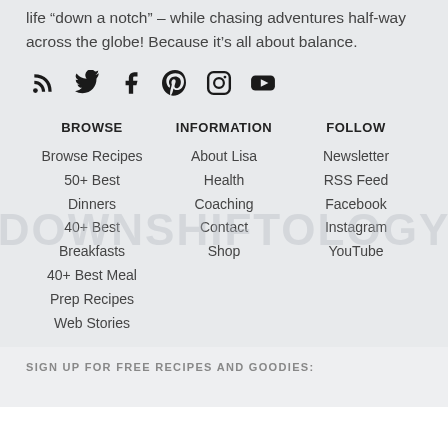life “down a notch” – while chasing adventures half-way across the globe! Because it’s all about balance.
[Figure (infographic): Social media icons: RSS, Twitter, Facebook, Pinterest, Instagram, YouTube]
BROWSE
INFORMATION
FOLLOW
Browse Recipes
50+ Best Dinners
40+ Best Breakfasts
40+ Best Meal Prep Recipes
Web Stories
About Lisa
Health Coaching
Contact
Shop
Newsletter
RSS Feed
Facebook
Instagram
YouTube
SIGN UP FOR FREE RECIPES AND GOODIES: